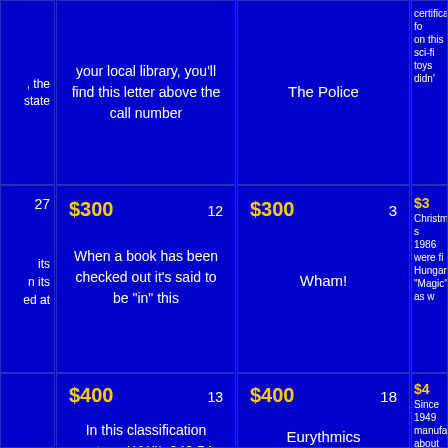| (partial left col row1) | your local library, you'll find this letter above the call number | The Police | certificates fo...on this sci-fi toys didn' |
| 27 | $300  12 / When a book has been checked out it's said to be "in" this | $300  3 / Wham! | $3... / Christmas s...1986 were fi...Hungarian..."Magic", as w |
| (partial left col row3) | $400  13 / In this classification system, WWII, 940.54, comes before the Civil War, 973.7 | $400  18 / Eurythmics | $4... / Since 1949...manufactu...about 1 millio...sets a |